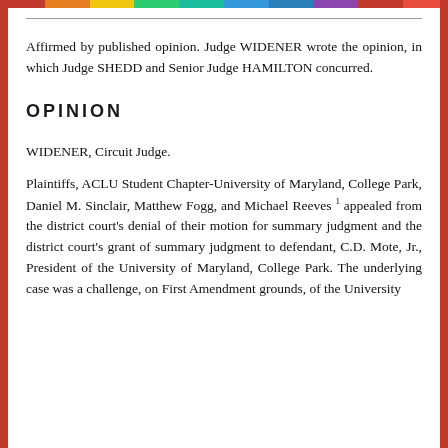Affirmed by published opinion. Judge WIDENER wrote the opinion, in which Judge SHEDD and Senior Judge HAMILTON concurred.
OPINION
WIDENER, Circuit Judge.
Plaintiffs, ACLU Student Chapter-University of Maryland, College Park, Daniel M. Sinclair, Matthew Fogg, and Michael Reeves 1 appealed from the district court's denial of their motion for summary judgment and the district court's grant of summary judgment to defendant, C.D. Mote, Jr., President of the University of Maryland, College Park. The underlying case was a challenge, on First Amendment grounds, of the University